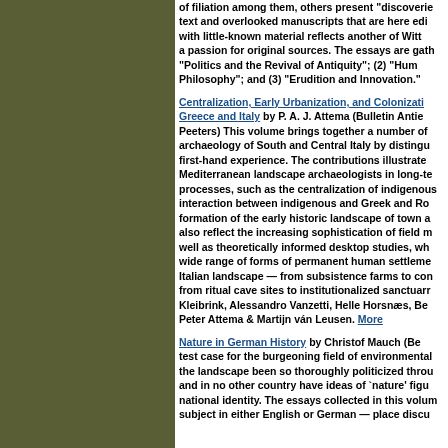of filiation among them, others present "discoveries" of overlooked text and overlooked manuscripts that are here edited and translated, with little-known material reflects another of Witt's concerns, a passion for original sources. The essays are gathered in three sections: "Politics and the Revival of Antiquity"; (2) "Humanism and Philosophy"; and (3) "Erudition and Innovation."
Centralization, Early Urbanization, and Colonization in First Millennium Greece and Italy by P. A. J. Attema (Bulletin Antieke Beschaving, Peeters) This volume brings together a number of contributions on the archaeology of South and Central Italy by distinguished scholars with first-hand experience. The contributions illustrate the work of Mediterranean landscape archaeologists in long-term landscape processes, such as the centralization of indigenous settlements, the interaction between indigenous and Greek and Roman cultures, and the formation of the early historic landscape of town and countryside. They also reflect the increasing sophistication of field methods employed, as well as theoretically informed desktop studies, which address a wide range of forms of permanent human settlement in the ancient Italian landscape — from subsistence farms to complex settlements and from ritual cave sites to institutionalized sanctuaries... Kleibrink, Alessandro Vanzetti, Helle Horsnæs, Bert Nijboer, Peter Attema & Martijn ván Leusen. More
Nature in German History by Christof Mauch (Berghahn) Germany is a test case for the burgeoning field of environmental history. Nowhere has the landscape been so thoroughly politicized throughout the centuries, and in no other country have ideas of 'nature' figured so centrally in national identity. The essays collected in this volume — written by subject in either English or German — place discu